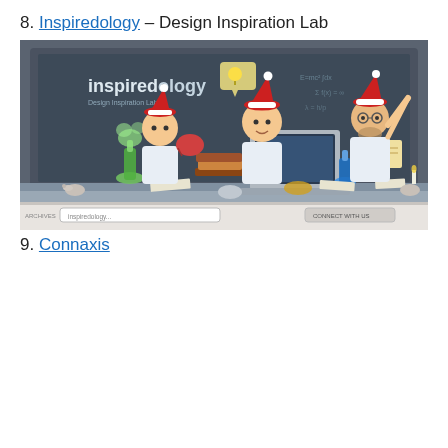8. Inspiredology – Design Inspiration Lab
[Figure (screenshot): Screenshot of the Inspiredology website showing a cartoon illustration of three scientists wearing Santa hats working at a lab desk with a laptop, chemistry equipment, and a chalkboard reading 'inspiredology Design Inspiration Lab' in the background.]
9. Connaxis